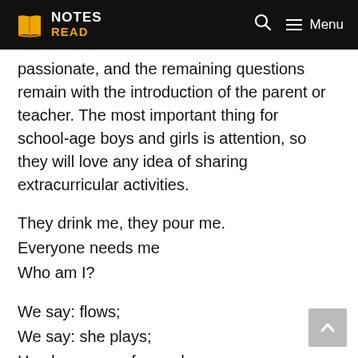NOTES READ — Menu
passionate, and the remaining questions remain with the introduction of the parent or teacher. The most important thing for school-age boys and girls is attention, so they will love any idea of sharing extracurricular activities.
They drink me, they pour me.
Everyone needs me
Who am I?
We say: flows;
We say: she plays;
He always runs forward